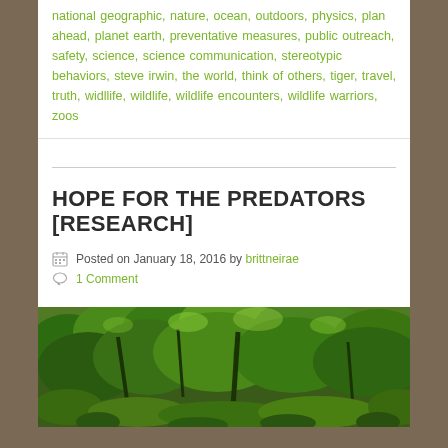national geographic, nature, ocean, outdoors, physics, plan ahead, planet earth, preventative measures, public outreach, safety, science, science communication, stereotypic behaviors, steve irwin, the world, think of others, tiger, travel, truth, widllife, wildlife, wildlife encounters, wildlife warriors, zoos
HOPE FOR THE PREDATORS [RESEARCH]
Posted on January 18, 2016 by brittneirae
1 Comment
[Figure (photo): Dense green forest/bush landscape with lush green foliage and trees, natural outdoor scene]